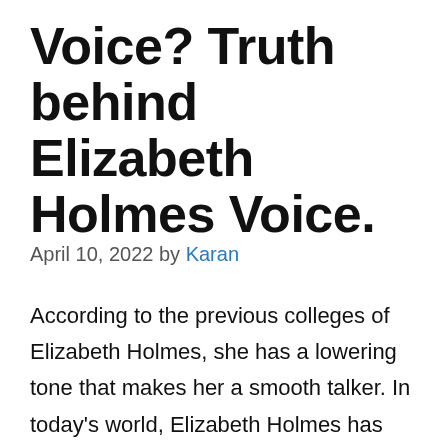Voice? Truth behind Elizabeth Holmes Voice.
April 10, 2022 by Karan
According to the previous colleges of Elizabeth Holmes, she has a lowering tone that makes her a smooth talker. In today’s world, Elizabeth Holmes has been accused by the people of the United States that she has been faking her voice to influence people around her. However, most of the clues and